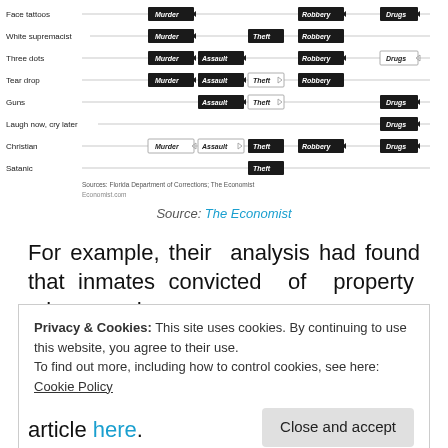[Figure (infographic): Chart showing tattoo types (Face tattoos, White supremacist, Three dots, Tear drop, Guns, Laugh now cry later, Christian, Satanic) and their associated crimes (Murder, Assault, Theft, Robbery, Drugs) shown as dark or light badge labels on a horizontal line per row. Sources: Florida Department of Corrections; The Economist. Economist.com]
Source: The Economist
For example, their analysis had found that inmates convicted of property crimes and weapons-
Privacy & Cookies: This site uses cookies. By continuing to use this website, you agree to their use.
To find out more, including how to control cookies, see here: Cookie Policy
Close and accept
article here.